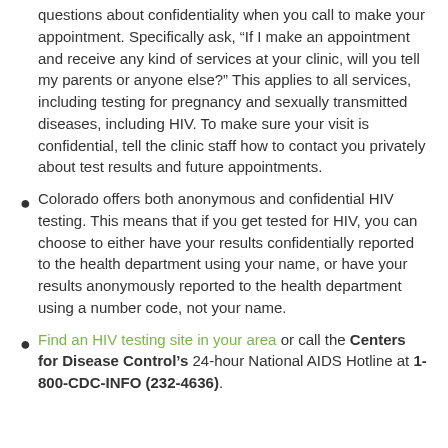questions about confidentiality when you call to make your appointment. Specifically ask, “If I make an appointment and receive any kind of services at your clinic, will you tell my parents or anyone else?” This applies to all services, including testing for pregnancy and sexually transmitted diseases, including HIV. To make sure your visit is confidential, tell the clinic staff how to contact you privately about test results and future appointments.
Colorado offers both anonymous and confidential HIV testing. This means that if you get tested for HIV, you can choose to either have your results confidentially reported to the health department using your name, or have your results anonymously reported to the health department using a number code, not your name.
Find an HIV testing site in your area or call the Centers for Disease Control’s 24-hour National AIDS Hotline at 1-800-CDC-INFO (232-4636).